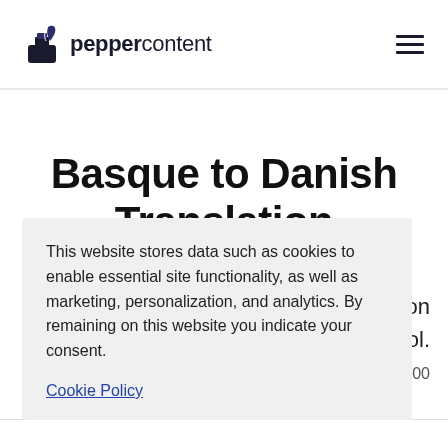[Figure (logo): Pepper Content logo with ink bottle icon and text 'peppercontent']
Basque to Danish Translation
anslation on tool.
0 / 500
This website stores data such as cookies to enable essential site functionality, as well as marketing, personalization, and analytics. By remaining on this website you indicate your consent.
Cookie Policy